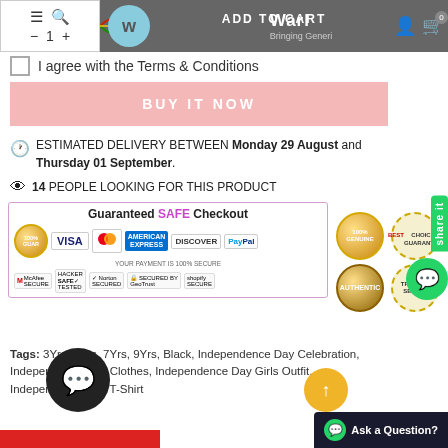[Figure (screenshot): Top navigation bar with hamburger menu, search icon, quantity selector (minus 1 plus), Warl banner with logo and ADD TO CART text, user icon and cart icon with 0 badge]
I agree with the Terms & Conditions
BUY IT NOW
ESTIMATED DELIVERY BETWEEN Monday 29 August and Thursday 01 September.
14 PEOPLE LOOKING FOR THIS PRODUCT
[Figure (infographic): Guaranteed SAFE Checkout banner with payment logos: Visa, Mastercard, American Express, Discover, PayPal, satisfaction guarantee badge, McAfee Secure, Hacker Safe, Norton Secured, GeoTrust, Shopify Secure. Right side has 100% genuine and best choice guarantee badges, authentic and trusted seller badges.]
Tags: 3Yrs, 5Yrs, 7Yrs, 9Yrs, Black, Independence Day Celebration, Independence Day Clothes, Independence Day Girls Outfit, Independence Day T-Shirt